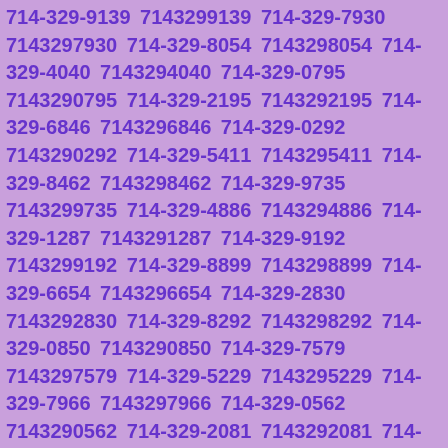714-329-9139 7143299139 714-329-7930 7143297930 714-329-8054 7143298054 714-329-4040 7143294040 714-329-0795 7143290795 714-329-2195 7143292195 714-329-6846 7143296846 714-329-0292 7143290292 714-329-5411 7143295411 714-329-8462 7143298462 714-329-9735 7143299735 714-329-4886 7143294886 714-329-1287 7143291287 714-329-9192 7143299192 714-329-8899 7143298899 714-329-6654 7143296654 714-329-2830 7143292830 714-329-8292 7143298292 714-329-0850 7143290850 714-329-7579 7143297579 714-329-5229 7143295229 714-329-7966 7143297966 714-329-0562 7143290562 714-329-2081 7143292081 714-329-9537 7143299537 714-329-1434 7143291434 714-329-9837 7143299837 714-329-4110 7143294110 714-329-9016 7143299016 714-329-0560 7143290560 714-329-8853 7143298853 714-329-2380 7143292380 714-329-7816 7143297816 714-329-7666 7143297666 714-329-5012 7143295012 714-329-7750 7143297750 714-329-3687 7143293687 714-329-8144 7143298144 714-329-2898 7143292898 714-329-1422 7143291422 714-329-9636 7143299636 714-329-4551